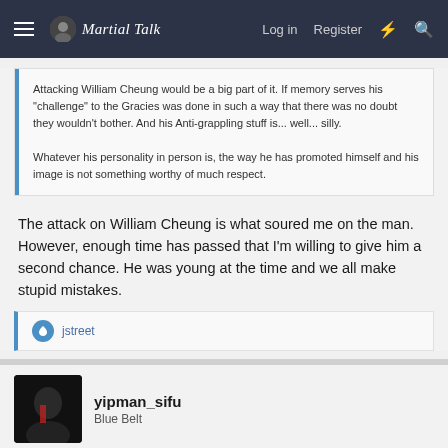Martial Talk — Log in  Register
Attacking William Cheung would be a big part of it. If memory serves his "challenge" to the Gracies was done in such a way that there was no doubt they wouldn't bother. And his Anti-grappling stuff is... well... silly.

Whatever his personality in person is, the way he has promoted himself and his image is not something worthy of much respect.
The attack on William Cheung is what soured me on the man. However, enough time has passed that I'm willing to give him a second chance. He was young at the time and we all make stupid mistakes.
jstreet
yipman_sifu
Blue Belt